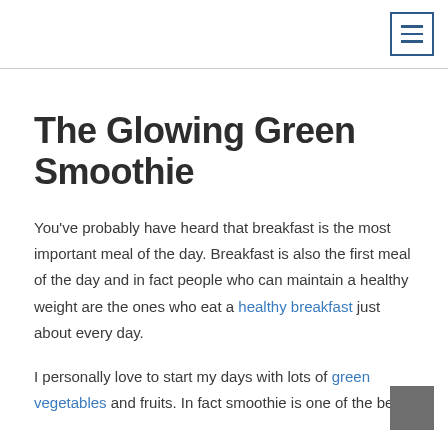[hamburger menu button]
The Glowing Green Smoothie
You've probably have heard that breakfast is the most important meal of the day. Breakfast is also the first meal of the day and in fact people who can maintain a healthy weight are the ones who eat a healthy breakfast just about every day.
I personally love to start my days with lots of green vegetables and fruits. In fact smoothie is one of the best